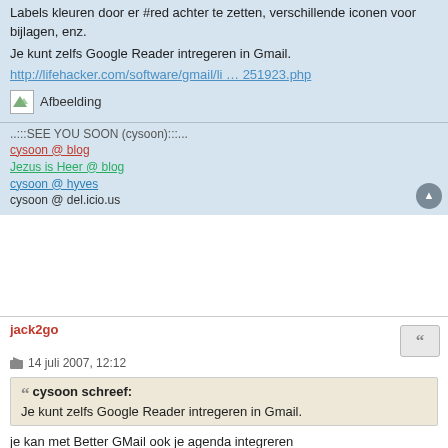Labels kleuren door er #red achter te zetten, verschillende iconen voor bijlagen, enz.
Je kunt zelfs Google Reader intregeren in Gmail.
http://lifehacker.com/software/gmail/li … 251923.php
[Figure (illustration): Broken image placeholder with label 'Afbeelding']
..:::SEE YOU SOON (cysoon):::...
cysoon @ blog
Jezus is Heer @ blog
cysoon @ hyves
cysoon @ del.icio.us
jack2go
14 juli 2007, 12:12
cysoon schreef:
Je kunt zelfs Google Reader intregeren in Gmail.
je kan met Better GMail ook je agenda integreren